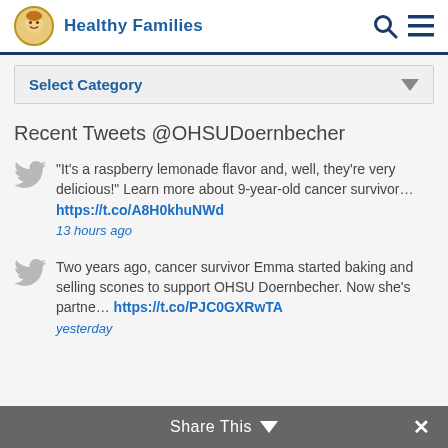Healthy Families
Select Category
Recent Tweets @OHSUDoernbecher
"It's a raspberry lemonade flavor and, well, they're very delicious!" Learn more about 9-year-old cancer survivor… https://t.co/A8H0khuNWd
13 hours ago
Two years ago, cancer survivor Emma started baking and selling scones to support OHSU Doernbecher. Now she's partne… https://t.co/PJC0GXRwTA
yesterday
Share This ∨  ×